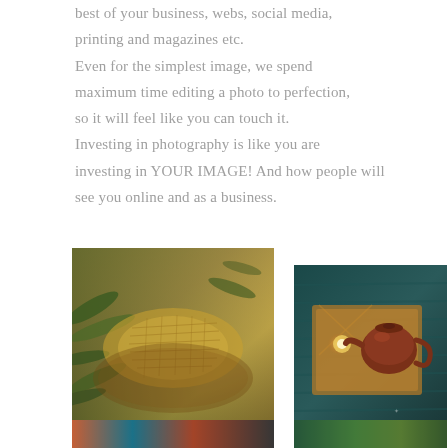best of your business, webs, social media, printing and magazines etc. Even for the simplest image, we spend maximum time editing a photo to perfection, so it will feel like you can touch it. Investing in photography is like you are investing in YOUR IMAGE! And how people will see you online and as a business.
[Figure (photo): Close-up photo of golden woven sandals/shoes on a wooden surface with green plant leaves in background]
[Figure (photo): Top-down view of a clay teapot on a wooden board with a glowing candle light, on a dark teal textured background]
[Figure (photo): Partially visible photo at bottom left, colorful items]
[Figure (photo): Partially visible photo at bottom right, green plant or textile patterns]